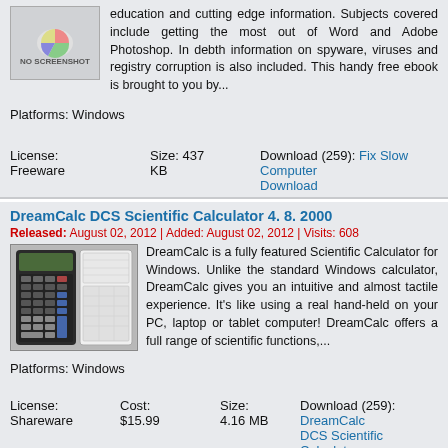education and cutting edge information. Subjects covered include getting the most out of Word and Adobe Photoshop. In debth information on spyware, viruses and registry corruption is also included. This handy free ebook is brought to you by...
Platforms: Windows
License: Freeware   Size: 437 KB   Download (259): Fix Slow Computer Download
DreamCalc DCS Scientific Calculator 4. 8. 2000
Released: August 02, 2012  |  Added: August 02, 2012 | Visits: 608
DreamCalc is a fully featured Scientific Calculator for Windows. Unlike the standard Windows calculator, DreamCalc gives you an intuitive and almost tactile experience. It's like using a real hand-held on your PC, laptop or tablet computer! DreamCalc offers a full range of scientific functions,...
Platforms: Windows
License: Shareware   Cost: $15.99   Size: 4.16 MB   Download (259): DreamCalc DCS Scientific Calculator